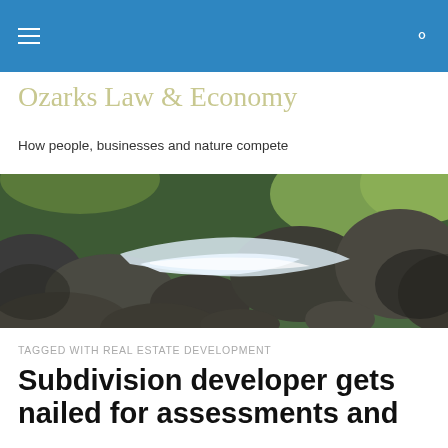Ozarks Law & Economy
How people, businesses and nature compete
[Figure (photo): Rocky stream with flowing water and mossy boulders in an outdoor natural setting]
TAGGED WITH REAL ESTATE DEVELOPMENT
Subdivision developer gets nailed for assessments and